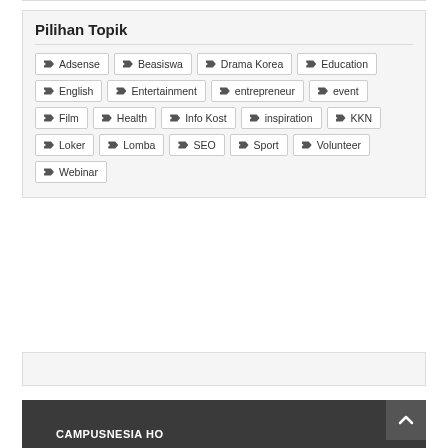Pilihan Topik
Adsense
Beasiswa
Drama Korea
Education
English
Entertainment
entrepreneur
event
Film
Health
Info Kost
inspiration
KKN
Loker
Lomba
SEO
Sport
Volunteer
Webinar
CAMPUSNESIA HO